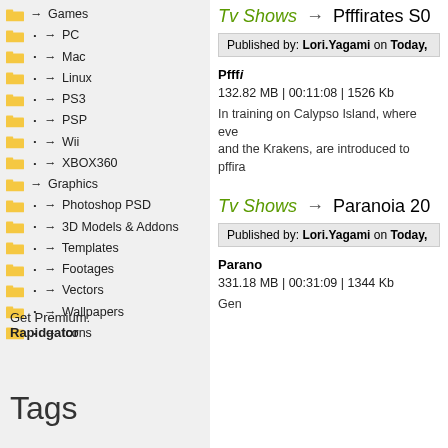→ Games
• → PC
• → Mac
• → Linux
• → PS3
• → PSP
• → Wii
• → XBOX360
→ Graphics
• → Photoshop PSD
• → 3D Models & Addons
• → Templates
• → Footages
• → Vectors
• → Wallpapers
• → Icons
Tv Shows → Pfffirates S0
Published by: Lori.Yagami on Today,
Pfffi
132.82 MB | 00:11:08 | 1526 Kb
In training on Calypso Island, where eve and the Krakens, are introduced to pffira
Tv Shows → Paranoia 20
Published by: Lori.Yagami on Today,
Parano
331.18 MB | 00:31:09 | 1344 Kb
Gen
Get Premium:
Rapidgator
Tags